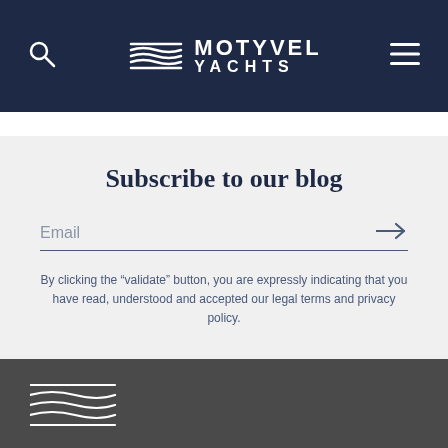[Figure (logo): Motyvel Yachts logo with wave icon in dark navy header, search icon on left, hamburger menu on right]
Subscribe to our blog
Email
By clicking the “validate” button, you are expressly indicating that you have read, understood and accepted our legal terms and privacy policy.
[Figure (logo): Motyvel Yachts wave logo mark in white on dark grey footer]
[Figure (infographic): Three gold circle icons: WhatsApp/chat bubble, envelope/email, phone/handset, on dark navy footer bar]